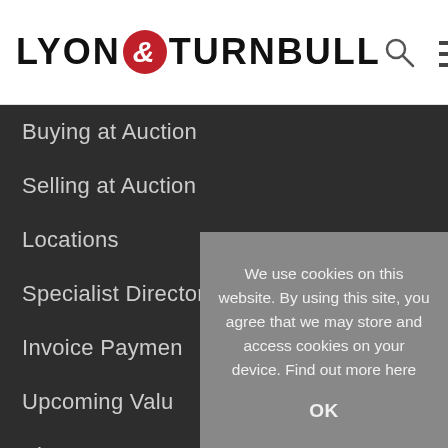LYON & TURNBULL
Buying at Auction
Selling at Auction
Locations
Specialist Directory
Invoice Payment
Upcoming Valuations
About Us
Events Calendar
Features & Films
We use cookies on this website. By using this site, you agree that we may store and access cookies on your device. Find out more here
OK